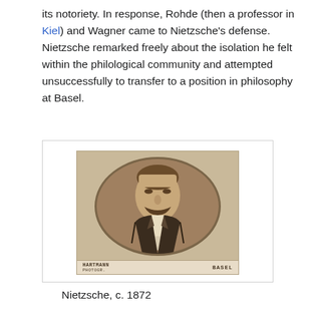its notoriety. In response, Rohde (then a professor in Kiel) and Wagner came to Nietzsche's defense. Nietzsche remarked freely about the isolation he felt within the philological community and attempted unsuccessfully to transfer to a position in philosophy at Basel.
[Figure (photo): Sepia-toned carte de visite photograph of Friedrich Nietzsche circa 1872, showing him in a dark jacket with a large mustache, set in an oval vignette. Printed by Hartmann Photogr., Basel.]
Nietzsche, c. 1872